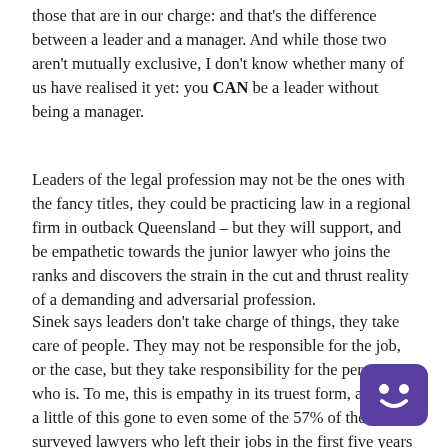those that are in our charge: and that's the difference between a leader and a manager. And while those two aren't mutually exclusive, I don't know whether many of us have realised it yet: you CAN be a leader without being a manager.
Leaders of the legal profession may not be the ones with the fancy titles, they could be practicing law in a regional firm in outback Queensland – but they will support, and be empathetic towards the junior lawyer who joins the ranks and discovers the strain in the cut and thrust reality of a demanding and adversarial profession.
Sinek says leaders don't take charge of things, they take care of people. They may not be responsible for the job, or the case, but they take responsibility for the person who is. To me, this is empathy in its truest form, and had a little of this gone to even some of the 57% of the 4,000 surveyed lawyers who left their jobs in the first five years of their practise, then I think we may have had a different outcome. The next question on this survey should have been "Did you receive any support from another member of the legal